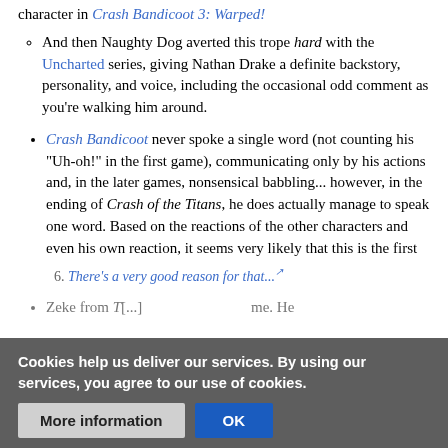character in Crash Bandicoot 3: Warped!
And then Naughty Dog averted this trope hard with the Uncharted series, giving Nathan Drake a definite backstory, personality, and voice, including the occasional odd comment as you're walking him around.
Crash Bandicoot never spoke a single word (not counting his "Uh-oh!" in the first game), communicating only by his actions and, in the later games, nonsensical babbling... however, in the ending of Crash of the Titans, he does actually manage to speak one word. Based on the reactions of the other characters and even his own reaction, it seems very likely that this is the first
There's a very good reason for that...
Zeke from T[...] game. He
Cookies help us deliver our services. By using our services, you agree to our use of cookies.